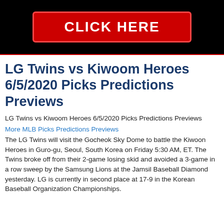[Figure (other): Black banner with red 'CLICK HERE' button with red border]
LG Twins vs Kiwoom Heroes 6/5/2020 Picks Predictions Previews
LG Twins vs Kiwoom Heroes 6/5/2020 Picks Predictions Previews
More MLB Picks Predictions Previews
The LG Twins will visit the Gocheok Sky Dome to battle the Kiwoon Heroes in Guro-gu, Seoul, South Korea on Friday 5:30 AM, ET. The Twins broke off from their 2-game losing skid and avoided a 3-game in a row sweep by the Samsung Lions at the Jamsil Baseball Diamond yesterday. LG is currently in second place at 17-9 in the Korean Baseball Organization Championships.